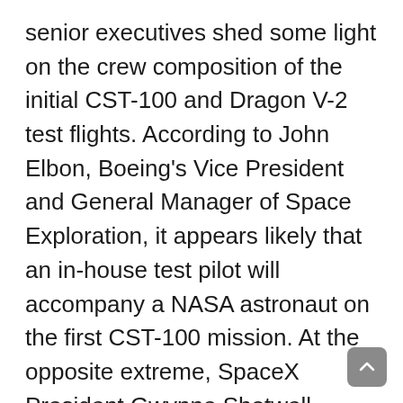senior executives shed some light on the crew composition of the initial CST-100 and Dragon V-2 test flights. According to John Elbon, Boeing's Vice President and General Manager of Space Exploration, it appears likely that an in-house test pilot will accompany a NASA astronaut on the first CST-100 mission. At the opposite extreme, SpaceX President Gwynne Shotwell explained earlier this year that she does not anticipate flying any in-house SpaceX test pilots aboard any of the Dragon V-2 missions and that all will be crewed exclusively by NASA personnel. At the same press conference, JSC Director Dr. Ellen Ochoa announced that an initial cadre of astronauts would be named in the first instance, to better understand the training requirements, and from that